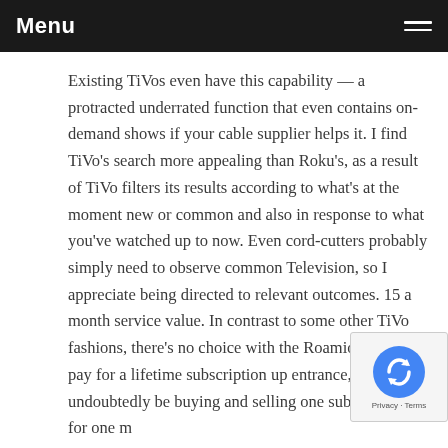Menu
Existing TiVos even have this capability — a protracted underrated function that even contains on-demand shows if your cable supplier helps it. I find TiVo's search more appealing than Roku's, as a result of TiVo filters its results according to what's at the moment new or common and also in response to what you've watched up to now. Even cord-cutters probably simply need to observe common Television, so I appreciate being directed to relevant outcomes. 15 a month service value. In contrast to some other TiVo fashions, there's no choice with the Roamio OTA to pay for a lifetime subscription up entrance, so you'll undoubtedly be buying and selling one subscription for one m